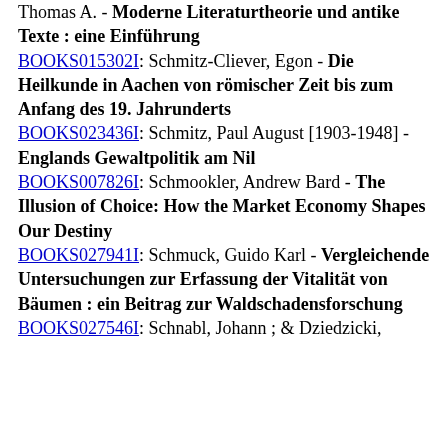Thomas A. - Moderne Literaturtheorie und antike Texte : eine Einführung
BOOKS015302I: Schmitz-Cliever, Egon - Die Heilkunde in Aachen von römischer Zeit bis zum Anfang des 19. Jahrunderts
BOOKS023436I: Schmitz, Paul August [1903-1948] - Englands Gewaltpolitik am Nil
BOOKS007826I: Schmookler, Andrew Bard - The Illusion of Choice: How the Market Economy Shapes Our Destiny
BOOKS027941I: Schmuck, Guido Karl - Vergleichende Untersuchungen zur Erfassung der Vitalität von Bäumen : ein Beitrag zur Waldschadensforschung
BOOKS027546I: Schnabl, Johann ; & Dziedzicki,